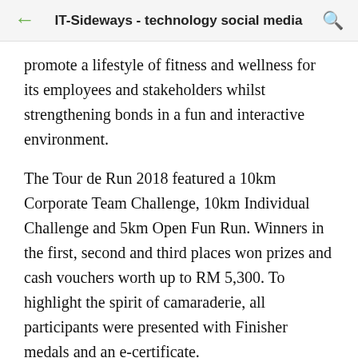IT-Sideways - technology social media
promote a lifestyle of fitness and wellness for its employees and stakeholders whilst strengthening bonds in a fun and interactive environment.
The Tour de Run 2018 featured a 10km Corporate Team Challenge, 10km Individual Challenge and 5km Open Fun Run. Winners in the first, second and third places won prizes and cash vouchers worth up to RM 5,300. To highlight the spirit of camaraderie, all participants were presented with Finisher medals and an e-certificate.
Oct 22, 2018 — Hitachi Sunway Budget 2019